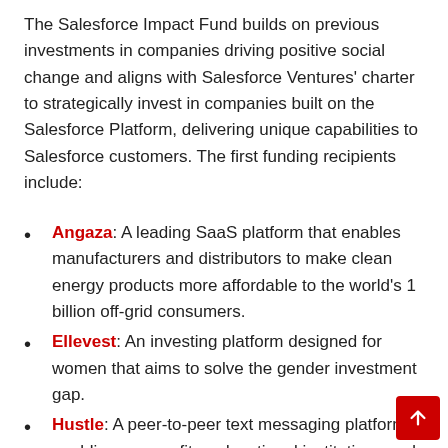The Salesforce Impact Fund builds on previous investments in companies driving positive social change and aligns with Salesforce Ventures' charter to strategically invest in companies built on the Salesforce Platform, delivering unique capabilities to Salesforce customers. The first funding recipients include:
Angaza: A leading SaaS platform that enables manufacturers and distributors to make clean energy products more affordable to the world's 1 billion off-grid consumers.
Ellevest: An investing platform designed for women that aims to solve the gender investment gap.
Hustle: A peer-to-peer text messaging platform enabling non-profits, educational institutions and advocacy groups to connect with donors and